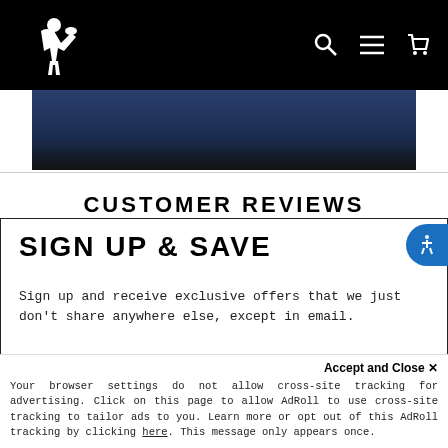GRONK FITNESS
[Figure (screenshot): Partial product image with dark blue background at top]
CUSTOMER REVIEWS
SIGN UP & SAVE
Sign up and receive exclusive offers that we just don't share anywhere else, except in email.
Enter your email
Accept and Close ✕
Your browser settings do not allow cross-site tracking for advertising. Click on this page to allow AdRoll to use cross-site tracking to tailor ads to you. Learn more or opt out of this AdRoll tracking by clicking here. This message only appears once.